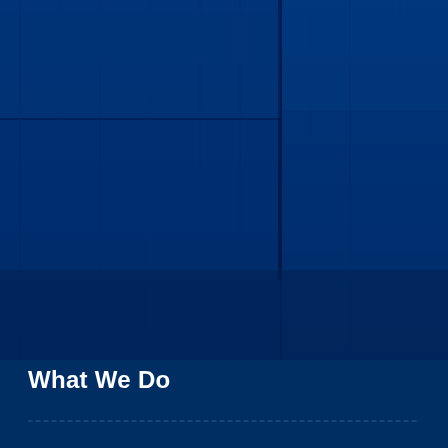[Figure (photo): Dark navy blue background with textured wooden or architectural surface patterns visible — panels and horizontal lines creating a moody, dark blue scene filling the upper three-quarters of the page]
What We Do
[Figure (other): Dashed horizontal divider line in a slightly lighter navy/teal color near the bottom of the page]